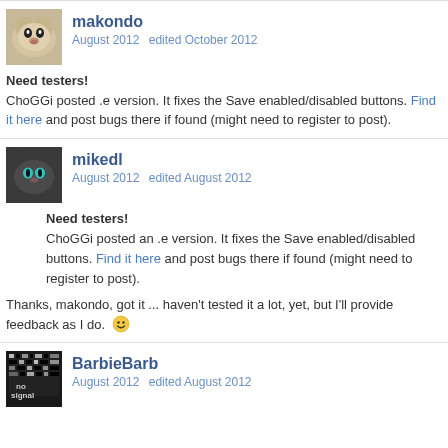[Figure (photo): Avatar of user makondo: a golden retriever dog photo]
makondo
August 2012   edited October 2012
Need testers!
ChoGGi posted .e version. It fixes the Save enabled/disabled buttons. Find it here and post bugs there if found (might need to register to post).
[Figure (photo): Avatar of user mikedl: a dark cat with glowing blue-green eyes]
mikedl
August 2012   edited August 2012
Need testers!
ChoGGi posted an .e version. It fixes the Save enabled/disabled buttons. Find it here and post bugs there if found (might need to register to post).

Thanks, makondo, got it ... haven't tested it a lot, yet, but I'll provide feedback as I do. :)
[Figure (photo): Avatar of user BarbieBarb: a 'no signal' TV screen]
BarbieBarb
August 2012   edited August 2012